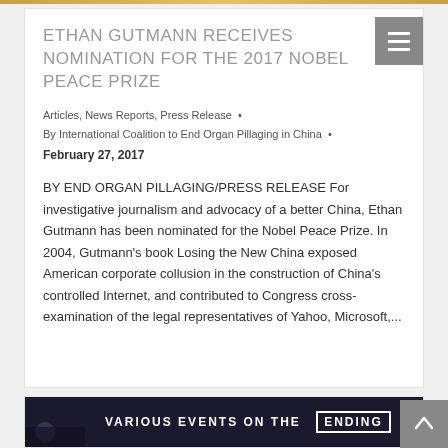ETHAN GUTMANN RECEIVES NOMINATION FOR THE 2017 NOBEL PEACE PRIZE
Articles, News Reports, Press Release  •
By International Coalition to End Organ Pillaging in China  •
February 27, 2017
BY END ORGAN PILLAGING/PRESS RELEASE For investigative journalism and advocacy of a better China, Ethan Gutmann has been nominated for the Nobel Peace Prize. In 2004, Gutmann's book Losing the New China exposed American corporate collusion in the construction of China's controlled Internet, and contributed to Congress cross-examination of the legal representatives of Yahoo, Microsoft,...
[Figure (photo): Dark banner at the bottom showing text 'VARIOUS EVENTS ON THE' and 'ENDING' in a white box]